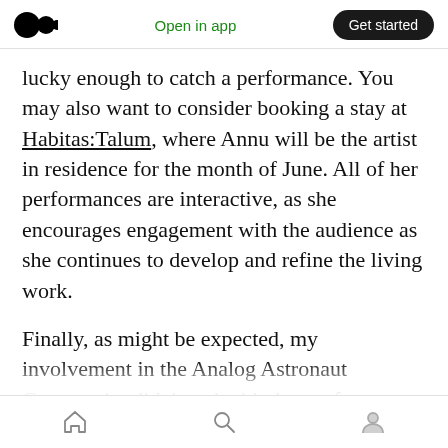Open in app | Get started
lucky enough to catch a performance. You may also want to consider booking a stay at Habitas:Talum, where Annu will be the artist in residence for the month of June. All of her performances are interactive, as she encourages engagement with the audience as she continues to develop and refine the living work.
Finally, as might be expected, my involvement in the Analog Astronaut Community didn't end with the conference… I took a handful of action items that I'm following up. There's a really creative open source space suit project that is looking for
Home | Search | Profile